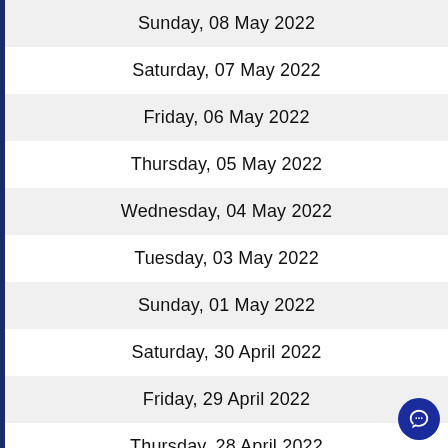Sunday, 08 May 2022
Saturday, 07 May 2022
Friday, 06 May 2022
Thursday, 05 May 2022
Wednesday, 04 May 2022
Tuesday, 03 May 2022
Sunday, 01 May 2022
Saturday, 30 April 2022
Friday, 29 April 2022
Thursday, 28 April 2022